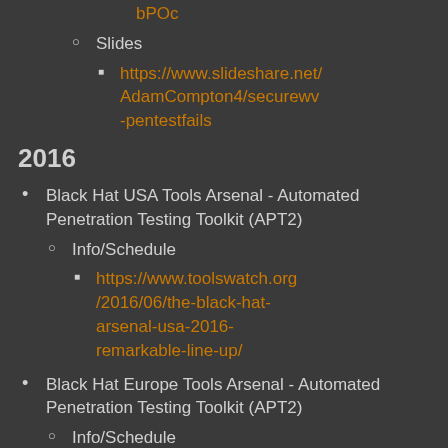bPOc (orange link, top)
Slides
https://www.slideshare.net/AdamCompton4/securewv-pentestfails
2016
Black Hat USA Tools Arsenal - Automated Penetration Testing Toolkit (APT2)
Info/Schedule
https://www.toolswatch.org/2016/06/the-black-hat-arsenal-usa-2016-remarkable-line-up/
Black Hat Europe Tools Arsenal - Automated Penetration Testing Toolkit (APT2)
Info/Schedule
https://www.toolswatch.org